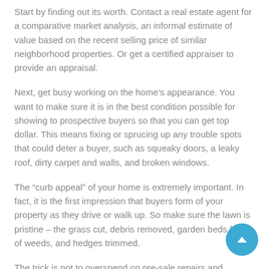Start by finding out its worth. Contact a real estate agent for a comparative market analysis, an informal estimate of value based on the recent selling price of similar neighborhood properties. Or get a certified appraiser to provide an appraisal.
Next, get busy working on the home's appearance. You want to make sure it is in the best condition possible for showing to prospective buyers so that you can get top dollar. This means fixing or sprucing up any trouble spots that could deter a buyer, such as squeaky doors, a leaky roof, dirty carpet and walls, and broken windows.
The “curb appeal” of your home is extremely important. In fact, it is the first impression that buyers form of your property as they drive or walk up. So make sure the lawn is pristine – the grass cut, debris removed, garden beds free of weeds, and hedges trimmed.
The trick is not to overspend on pre-sale repairs and